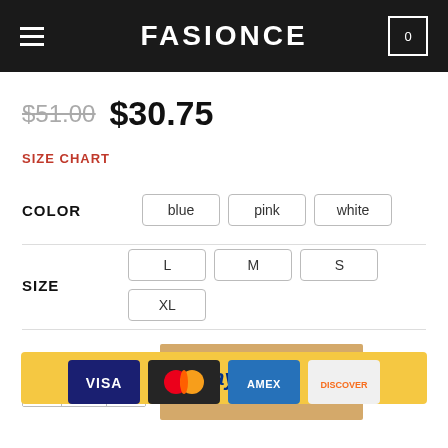FASIONCE
$51.00 $30.75
SIZE CHART
COLOR: blue, pink, white
SIZE: L, M, S, XL
- 1 + ADD TO CART
[Figure (other): PayPal payment button with yellow background]
[Figure (other): Payment method icons: VISA, Mastercard, AMEX, Discover]